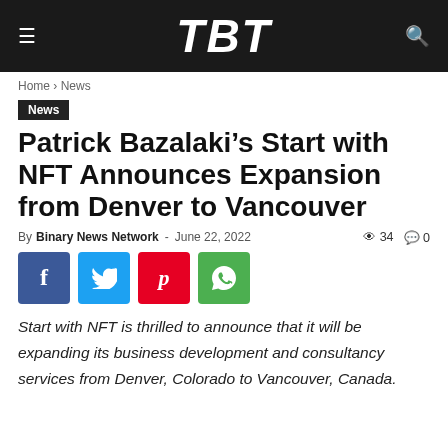TBT
Home › News
News
Patrick Bazalaki's Start with NFT Announces Expansion from Denver to Vancouver
By Binary News Network - June 22, 2022  👁 34  💬 0
[Figure (other): Social share buttons: Facebook, Twitter, Pinterest, WhatsApp]
Start with NFT is thrilled to announce that it will be expanding its business development and consultancy services from Denver, Colorado to Vancouver, Canada.